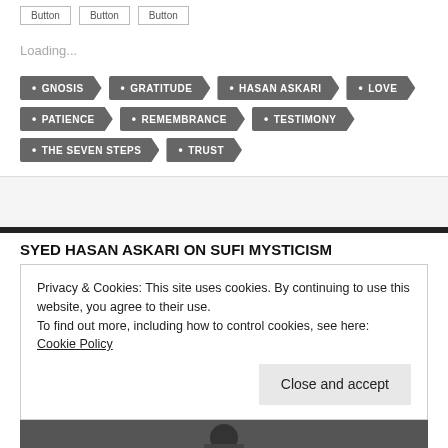Loading...
• GNOSIS
• GRATITUDE
• HASAN ASKARI
• LOVE
• PATIENCE
• REMEMBRANCE
• TESTIMONY
• THE SEVEN STEPS
• TRUST
SYED HASAN ASKARI ON SUFI MYSTICISM
Privacy & Cookies: This site uses cookies. By continuing to use this website, you agree to their use.
To find out more, including how to control cookies, see here: Cookie Policy
Close and accept